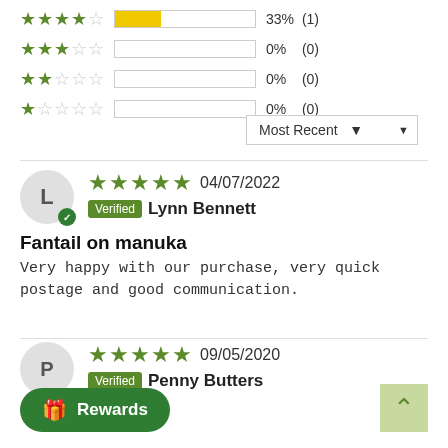[Figure (infographic): Star rating breakdown rows: 4 stars 33% (1), 3 stars 0% (0), 2 stars 0% (0), 1 star 0% (0), with filled progress bars]
Most Recent ▼
04/07/2022 ★★★★★ Verified Lynn Bennett
Fantail on manuka
Very happy with our purchase, very quick postage and good communication.
09/05/2020 ★★★★★ Verified Penny Butters
nuka
🎁 Rewards